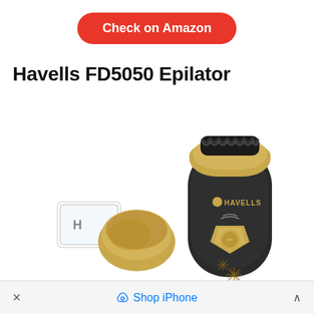Check on Amazon
Havells FD5050 Epilator
[Figure (photo): Havells FD5050 Epilator device in black and gold color, shown with accessories including attachments and protective caps]
× Shop iPhone ^